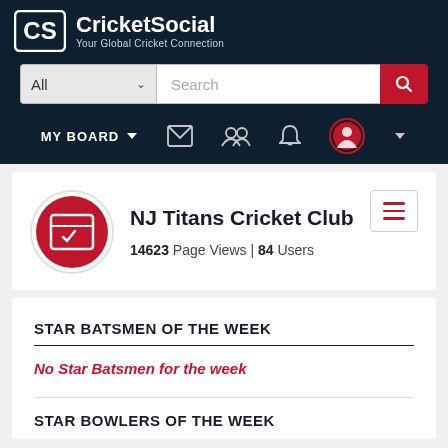CricketSocial — Your Global Cricket Connection
All [search dropdown] Search
MY BOARD
NJ Titans Cricket Club
14623 Page Views | 84 Users
STAR BATSMEN OF THE WEEK
No Star Batsmen for the week
STAR BOWLERS OF THE WEEK